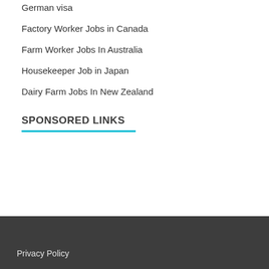German visa
Factory Worker Jobs in Canada
Farm Worker Jobs In Australia
Housekeeper Job in Japan
Dairy Farm Jobs In New Zealand
SPONSORED LINKS
Privacy Policy